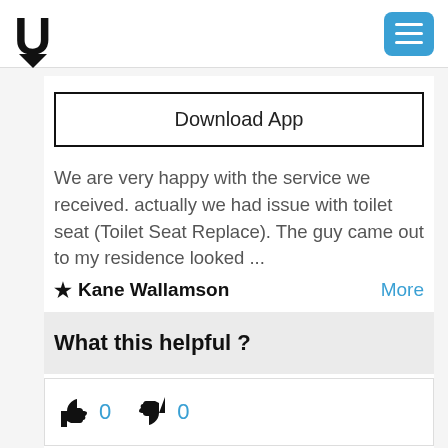U [logo] [hamburger menu]
Download App
We are very happy with the service we received. actually we had issue with toilet seat (Toilet Seat Replace). The guy came out to my residence looked ...
★ Kane Wallamson   More
What this helpful ?
👍 0   👎 0